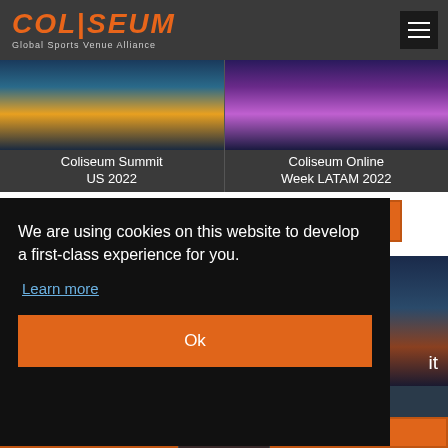COLISEUM - Global Sports Venue Alliance
[Figure (photo): Aerial night cityscape image for Coliseum Summit US 2022]
Coliseum Summit US 2022
[Figure (photo): Aerial night cityscape image for Coliseum Online Week LATAM 2022]
Coliseum Online Week LATAM 2022
REGISTER
REGISTER
We are using cookies on this website to develop a first-class experience for you.
Learn more
Ok
REGISTER
REGISTER